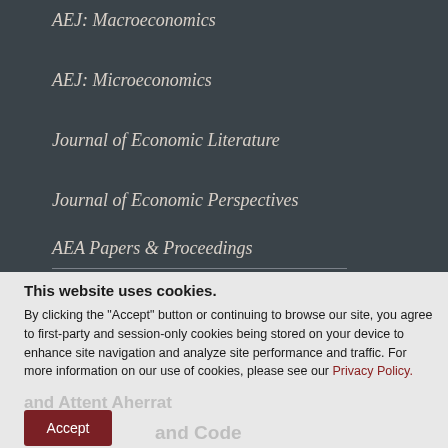AEJ: Macroeconomics
AEJ: Microeconomics
Journal of Economic Literature
Journal of Economic Perspectives
AEA Papers & Proceedings
This website uses cookies.
By clicking the "Accept" button or continuing to browse our site, you agree to first-party and session-only cookies being stored on your device to enhance site navigation and analyze site performance and traffic. For more information on our use of cookies, please see our Privacy Policy.